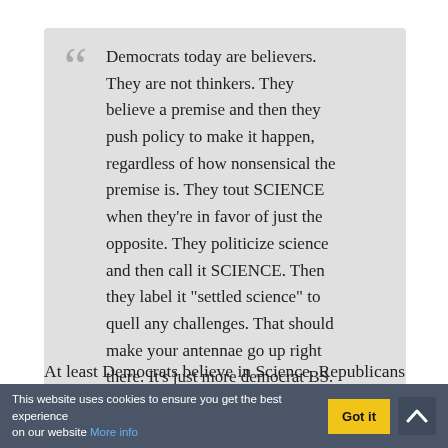Democrats today are believers. They are not thinkers. They believe a premise and then they push policy to make it happen, regardless of how nonsensical the premise is. They tout SCIENCE when they're in favor of just the opposite. They politicize science and then call it SCIENCE. Then they label it "settled science" to quell any challenges. That should make your antennae go up right there. It's just more democrat BS. The whole DNC is formed around BS ideologies.
At least Democrats believe in Science. Republicans deny that science exists.
Inflation is something you want to keep low. Like